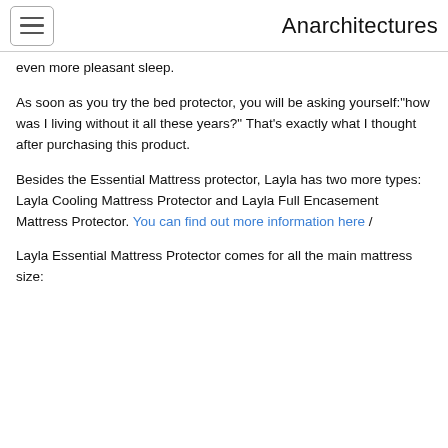Anarchitectures
even more pleasant sleep.
As soon as you try the bed protector, you will be asking yourself:"how was I living without it all these years?" That's exactly what I thought after purchasing this product.
Besides the Essential Mattress protector, Layla has two more types: Layla Cooling Mattress Protector and Layla Full Encasement Mattress Protector. You can find out more information here /
Layla Essential Mattress Protector comes for all the main mattress size: